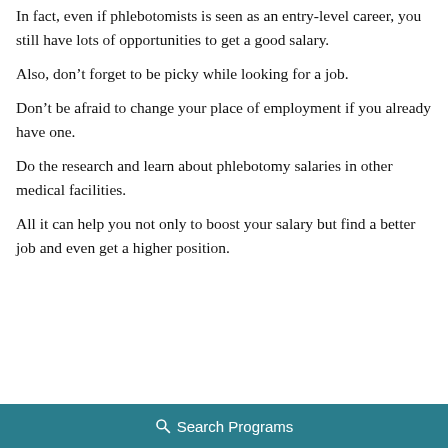In fact, even if phlebotomists is seen as an entry-level career, you still have lots of opportunities to get a good salary.
Also, don’t forget to be picky while looking for a job.
Don’t be afraid to change your place of employment if you already have one.
Do the research and learn about phlebotomy salaries in other medical facilities.
All it can help you not only to boost your salary but find a better job and even get a higher position.
Search Programs